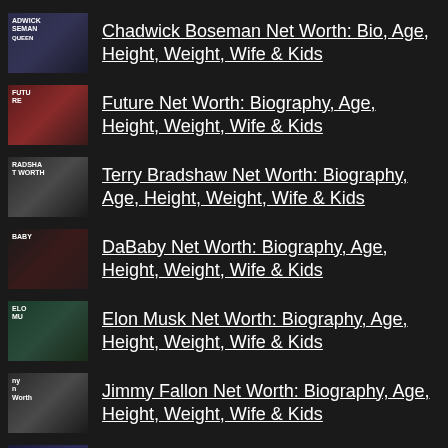Chadwick Boseman Net Worth: Bio, Age, Height, Weight, Wife & Kids
Future Net Worth: Biography, Age, Height, Weight, Wife & Kids
Terry Bradshaw Net Worth: Biography, Age, Height, Weight, Wife & Kids
DaBaby Net Worth: Biography, Age, Height, Weight, Wife & Kids
Elon Musk Net Worth: Biography, Age, Height, Weight, Wife & Kids
Jimmy Fallon Net Worth: Biography, Age, Height, Weight, Wife & Kids
John Cena Net Worth: Biography, Age, Height, Weight, Wife & Kids